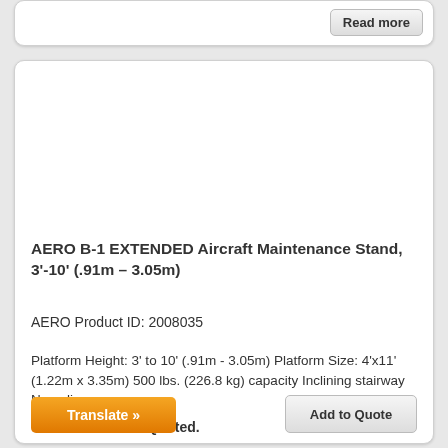Read more
AERO B-1 EXTENDED Aircraft Maintenance Stand, 3'-10' (.91m – 3.05m)
AERO Product ID: 2008035
Platform Height: 3' to 10' (.91m - 3.05m) Platform Size: 4'x11' (1.22m x 3.35m) 500 lbs. (226.8 kg) capacity Inclining stairway Non-slip, ...more →
This Item Will Be Quoted.
Translate »
Add to Quote